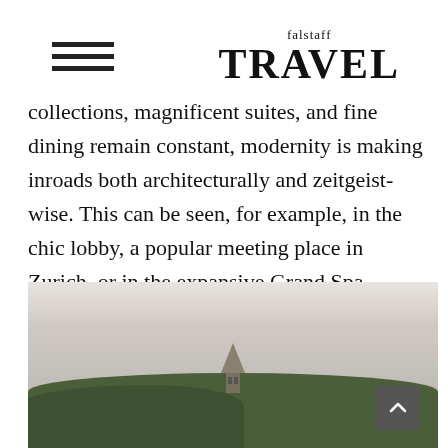falstaff TRAVEL
collections, magnificent suites, and fine dining remain constant, modernity is making inroads both architecturally and zeitgeist-wise. This can be seen, for example, in the chic lobby, a popular meeting place in Zurich, or in the expansive Grand Spa.
[Figure (photo): Landscape photograph showing a scenic view with a pale overcast sky, rolling forested hills in the background, and what appears to be a church spire or tower visible among trees in the lower center of the image.]